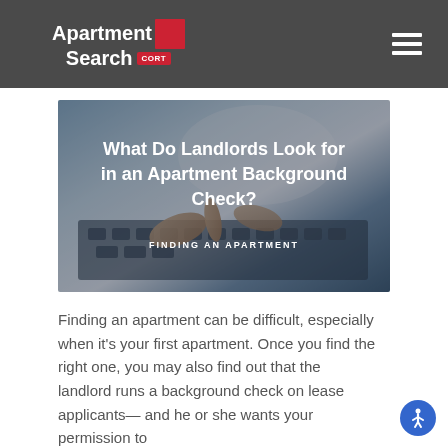Apartment Search CORT
[Figure (photo): Hero image showing hands typing on a keyboard, overlaid with the title 'What Do Landlords Look for in an Apartment Background Check?' and category label 'FINDING AN APARTMENT']
What Do Landlords Look for in an Apartment Background Check?
FINDING AN APARTMENT
Finding an apartment can be difficult, especially when it's your first apartment. Once you find the right one, you may also find out that the landlord runs a background check on lease applicants—and he or she wants your permission to